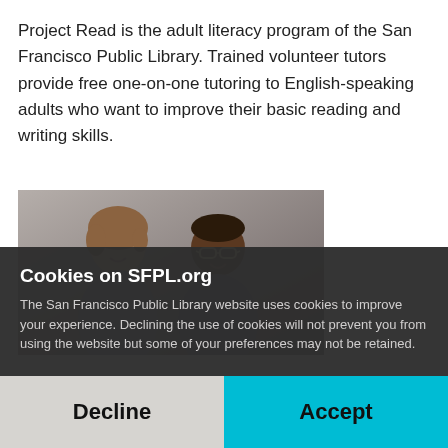Project Read is the adult literacy program of the San Francisco Public Library. Trained volunteer tutors provide free one-on-one tutoring to English-speaking adults who want to improve their basic reading and writing skills.
[Figure (photo): Photo of two people, a woman with light brown hair and a man with glasses, against a gray background]
Cookies on SFPL.org
The San Francisco Public Library website uses cookies to improve your experience. Declining the use of cookies will not prevent you from using the website but some of your preferences may not be retained.
Decline
Accept